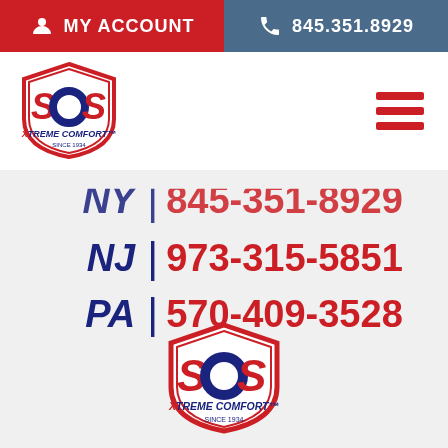MY ACCOUNT | 845.351.8929
[Figure (logo): SOS Xtreme Comfort Since 1934 logo - shield shape with SOS text in red and blue]
[Figure (other): Hamburger menu icon - three red horizontal lines]
NY | 845-351-8929
NJ | 973-315-5851
PA | 570-409-3528
[Figure (logo): SOS Xtreme Comfort Since 1934 logo - shield shape centered at bottom of page]